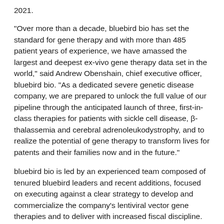2021.
“Over more than a decade, bluebird bio has set the standard for gene therapy and with more than 485 patient years of experience, we have amassed the largest and deepest ex-vivo gene therapy data set in the world,” said Andrew Obenshain, chief executive officer, bluebird bio. “As a dedicated severe genetic disease company, we are prepared to unlock the full value of our pipeline through the anticipated launch of three, first-in-class therapies for patients with sickle cell disease, β-thalassemia and cerebral adrenoleukodystrophy, and to realize the potential of gene therapy to transform lives for patents and their families now and in the future.”
bluebird bio is led by an experienced team composed of tenured bluebird leaders and recent additions, focused on executing against a clear strategy to develop and commercialize the company's lentiviral vector gene therapies and to deliver with increased fiscal discipline.
In September 2021, bluebird announced that it had submitted a biologics licensing application to the U.S. Food and Drug Administration for betibeglogene autotemcel (beti-cel) for